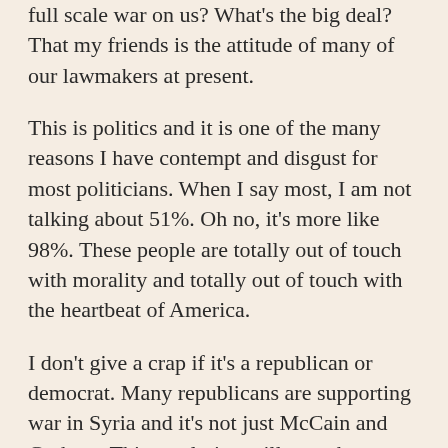full scale war on us? What's the big deal? That my friends is the attitude of many of our lawmakers at present.
This is politics and it is one of the many reasons I have contempt and disgust for most politicians. When I say most, I am not talking about 51%. Oh no, it's more like 98%. These people are totally out of touch with morality and totally out of touch with the heartbeat of America.
I don't give a crap if it's a republican or democrat. Many republicans are supporting war in Syria and it's not just McCain and Graham. This resolution will pass the senate with an unacceptable number of republican votes. And surprisingly there are some democrats that are breaking ranks on this issue, but there are not enough it would seem.
I haven't been this close to speechless in a long time. Normally I can let my anger flow in my writing but, as I